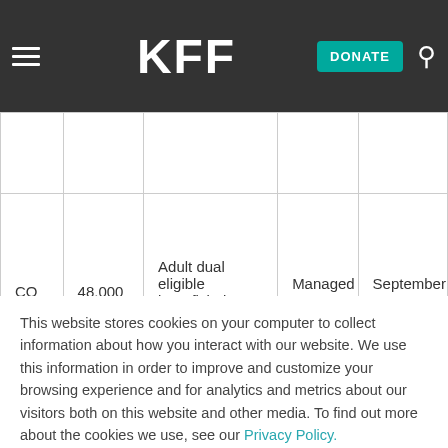KFF — DONATE
|  |  |  |  |  |
| --- | --- | --- | --- | --- |
|  |  |  |  |  |
| CO | 48,000 | Adult dual eligible beneficiaries statewide | Managed FFS | September 2014 |
This website stores cookies on your computer to collect information about how you interact with our website. We use this information in order to improve and customize your browsing experience and for analytics and metrics about our visitors both on this website and other media. To find out more about the cookies we use, see our Privacy Policy.
Accept